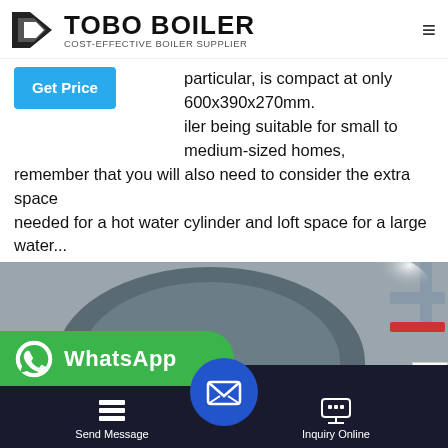TOBO BOILER - COST-EFFECTIVE BOILER SUPPLIER
particular, is compact at only 600x390x270mm. iler being suitable for small to medium-sized homes, remember that you will also need to consider the extra space needed for a hot water cylinder and loft space for a large water...
[Figure (photo): Industrial boiler equipment in a facility showing a large cylindrical boiler unit with control panel, piping, and associated machinery]
Send Message | Inquiry Online